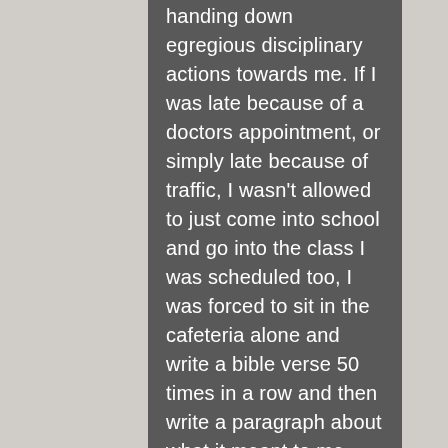handing down egregious disciplinary actions towards me. If I was late because of a doctors appointment, or simply late because of traffic, I wasn't allowed to just come into school and go into the class I was scheduled too, I was forced to sit in the cafeteria alone and write a bible verse 50 times in a row and then write a paragraph about what it meant to me. This delayed my days significantly which led to me coming home with more homework than usual,